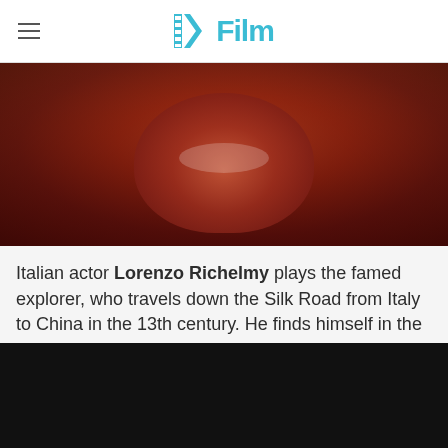/Film
[Figure (photo): Close-up of a bearded man with reddish dramatic lighting, appearing to be a still from the Marco Polo TV series.]
Italian actor Lorenzo Richelmy plays the famed explorer, who travels down the Silk Road from Italy to China in the 13th century. He finds himself in the court of Kublai Khan (Benedict Wong), where adventure and intrigue await. Watch the first Marco Polo trailer after the jump.
[Figure (screenshot): Black video player/still frame at the bottom of the page.]